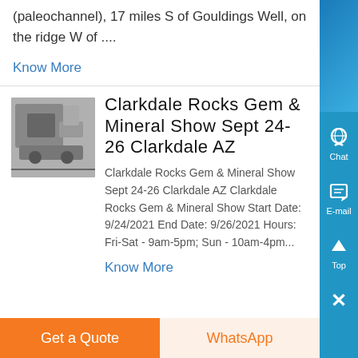(paleochannel), 17 miles S of Gouldings Well, on the ridge W of ....
Know More
[Figure (photo): Photo of industrial/mining equipment, machinery in gray tones]
Clarkdale Rocks Gem & Mineral Show Sept 24-26 Clarkdale AZ
Clarkdale Rocks Gem & Mineral Show Sept 24-26 Clarkdale AZ Clarkdale Rocks Gem & Mineral Show Start Date: 9/24/2021 End Date: 9/26/2021 Hours: Fri-Sat - 9am-5pm; Sun - 10am-4pm...
Know More
Get a Quote
WhatsApp